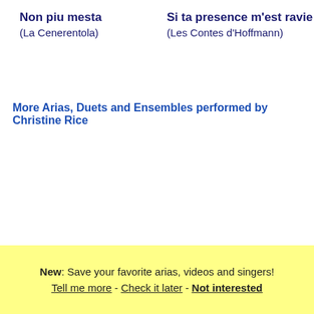Non piu mesta (La Cenerentola)
Si ta presence m'est ravie (Les Contes d'Hoffmann)
More Arias, Duets and Ensembles performed by Christine Rice
New: Save your favorite arias, videos and singers!
Tell me more - Check it later - Not interested